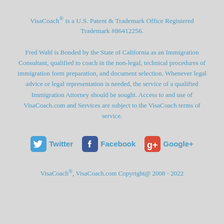VisaCoach® is a U.S. Patent & Trademark Office Registered Trademark #86412256.
Fred Wahl is Bonded by the State of California as an Immigration Consultant, qualified to coach in the non-legal, technical procedures of immigration form preparation, and document selection. Whenever legal advice or legal representation is needed, the service of a qualified Immigration Attorney should be sought. Access to and use of VisaCoach.com and Services are subject to the VisaCoach terms of service.
[Figure (infographic): Social media icons and labels: Twitter (blue bird icon), Facebook (blue f icon), Google+ (red g+ icon)]
VisaCoach®, VisaCoach.com Copyright@ 2008 - 2022